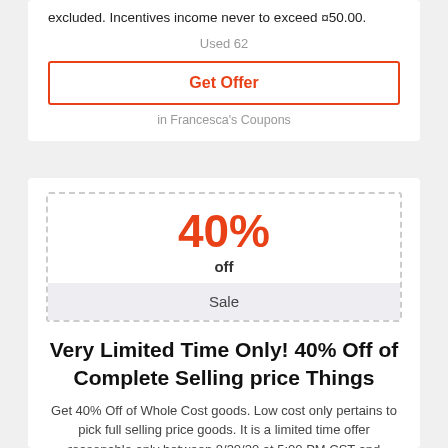excluded. Incentives income never to exceed ¤50.00.
Used 62
Get Offer
in Francesca's Coupons
40%
off
Sale
Very Limited Time Only! 40% Off of Complete Selling price Things
Get 40% Off of Whole Cost goods. Low cost only pertains to pick full selling price goods. It is a limited time offer reasonable only between 8/30/20 at 5:00 PM CST and 8/30/20 at 1:59 AM